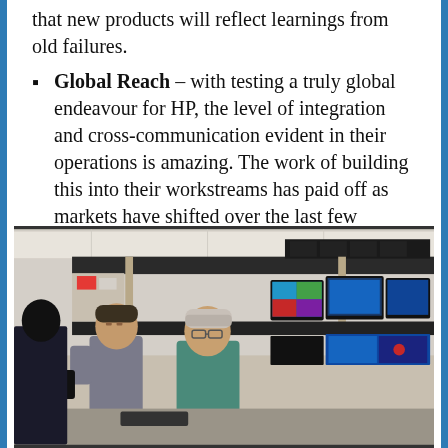that new products will reflect learnings from old failures.
Global Reach – with testing a truly global endeavour for HP, the level of integration and cross-communication evident in their operations is amazing. The work of building this into their workstreams has paid off as markets have shifted over the last few decades.
[Figure (photo): Two men standing in front of shelving units holding multiple computer monitors and hardware equipment in what appears to be a technology testing lab.]